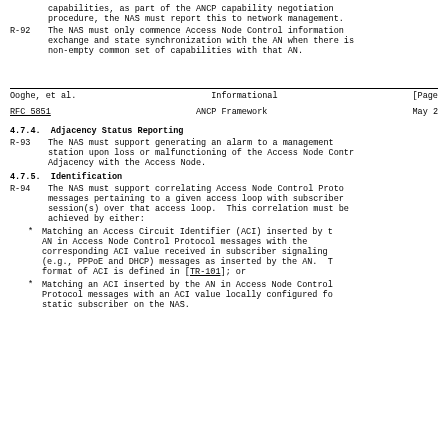capabilities, as part of the ANCP capability negotiation procedure, the NAS must report this to network management.
R-92  The NAS must only commence Access Node Control information exchange and state synchronization with the AN when there is non-empty common set of capabilities with that AN.
Ooghe, et al.                    Informational                          [Page
RFC 5851                         ANCP Framework                           May 2
4.7.4.  Adjacency Status Reporting
R-93  The NAS must support generating an alarm to a management station upon loss or malfunctioning of the Access Node Contr Adjacency with the Access Node.
4.7.5.  Identification
R-94  The NAS must support correlating Access Node Control Proto messages pertaining to a given access loop with subscriber session(s) over that access loop.  This correlation must be achieved by either:
*  Matching an Access Circuit Identifier (ACI) inserted by t AN in Access Node Control Protocol messages with the corresponding ACI value received in subscriber signaling (e.g., PPPoE and DHCP) messages as inserted by the AN. T format of ACI is defined in [TR-101]; or
*  Matching an ACI inserted by the AN in Access Node Control Protocol messages with an ACI value locally configured fo static subscriber on the NAS.